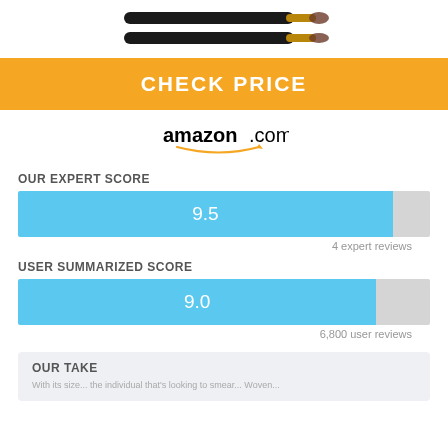[Figure (photo): Product image of makeup brushes with black handles and rose gold ferrules]
CHECK PRICE
[Figure (logo): amazon.com logo with smile arrow]
OUR EXPERT SCORE
[Figure (infographic): Horizontal bar chart showing expert score of 9.5 out of 10]
4 expert reviews
USER SUMMARIZED SCORE
[Figure (infographic): Horizontal bar chart showing user summarized score of 9.0 out of 10]
6,800 user reviews
OUR TAKE